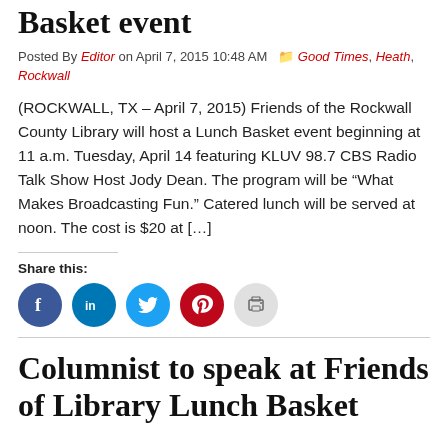Basket event
Posted By Editor on April 7, 2015 10:48 AM  Good Times, Heath, Rockwall
(ROCKWALL, TX – April 7, 2015) Friends of the Rockwall County Library will host a Lunch Basket event beginning at 11 a.m. Tuesday, April 14 featuring KLUV 98.7 CBS Radio Talk Show Host Jody Dean. The program will be “What Makes Broadcasting Fun.” Catered lunch will be served at noon. The cost is $20 at […]
Share this:
[Figure (infographic): Social share buttons: Facebook, LinkedIn, Twitter, Pinterest, Print]
Columnist to speak at Friends of Library Lunch Basket